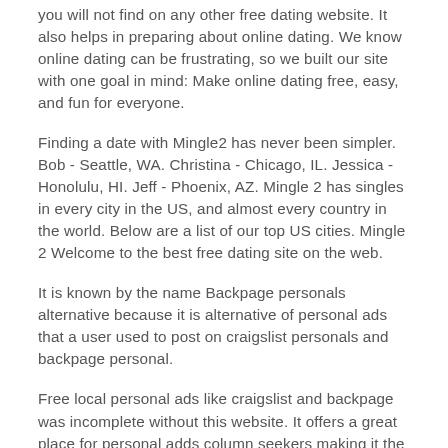you will not find on any other free dating website. It also helps in preparing about online dating. We know online dating can be frustrating, so we built our site with one goal in mind: Make online dating free, easy, and fun for everyone.
Finding a date with Mingle2 has never been simpler. Bob - Seattle, WA. Christina - Chicago, IL. Jessica - Honolulu, HI. Jeff - Phoenix, AZ. Mingle 2 has singles in every city in the US, and almost every country in the world. Below are a list of our top US cities. Mingle 2 Welcome to the best free dating site on the web.
It is known by the name Backpage personals alternative because it is alternative of personal ads that a user used to post on craigslist personals and backpage personal.
Free local personal ads like craigslist and backpage was incomplete without this website. It offers a great place for personal adds column seekers making it the next best personal classifieds site.